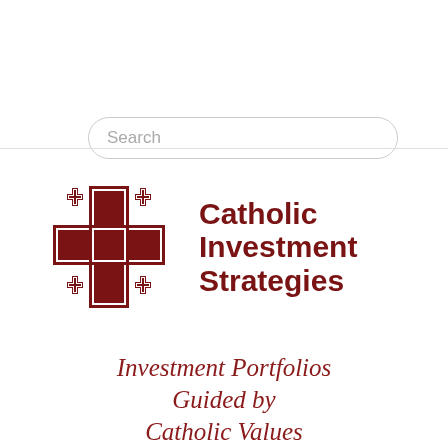[Figure (other): Search bar input field with rounded corners and placeholder text 'Search']
[Figure (logo): Catholic Investment Strategies logo: Jerusalem cross in dark red with small corner crosses, next to bold dark red text reading 'Catholic Investment Strategies']
Investment Portfolios Guided by Catholic Values